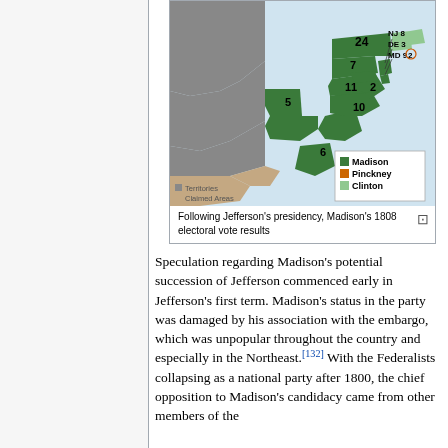[Figure (map): Map of the United States showing Madison's 1808 electoral vote results. Green areas represent states won by Madison with numeric electoral vote counts (7, 5, 24, 11, 2, 10, 6). Orange dot indicates Pinckney. Light green for Clinton. Gray for Territories. Tan for Claimed Areas. Legend: Madison (dark green), Pinckney (orange), Clinton (light green), Territories (gray), Claimed Areas (tan). Numbers shown: NJ 8, DE 3, MD 9 with orange circle around 2.]
Following Jefferson's presidency, Madison's 1808 electoral vote results
Speculation regarding Madison's potential succession of Jefferson commenced early in Jefferson's first term. Madison's status in the party was damaged by his association with the embargo, which was unpopular throughout the country and especially in the Northeast.[132] With the Federalists collapsing as a national party after 1800, the chief opposition to Madison's candidacy came from other members of the Democratic-Republican Party.[133]